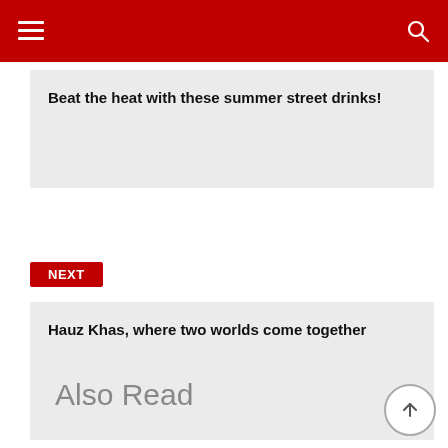Navigation bar with hamburger menu and search icon
Beat the heat with these summer street drinks!
NEXT
Hauz Khas, where two worlds come together
Also Read
[Figure (photo): Crowd of people wearing masks holding protest signs including 'ALL LABOUR RIGHTS FOR ALL' and 'IS MUSIC']